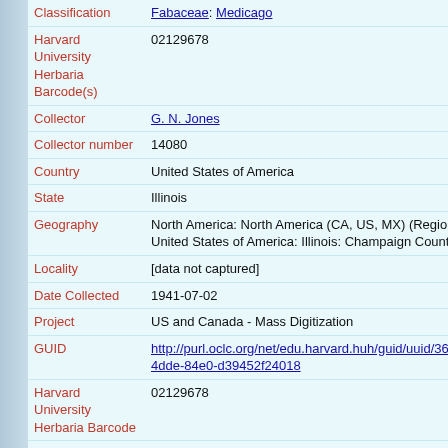| Field | Value |
| --- | --- |
| Classification | Fabaceae: Medicago |
| Harvard University Herbaria Barcode(s) | 02129678 |
| Collector | G. N. Jones |
| Collector number | 14080 |
| Country | United States of America |
| State | Illinois |
| Geography | North America: North America (CA, US, MX) (Region): United States of America: Illinois: Champaign County |
| Locality | [data not captured] |
| Date Collected | 1941-07-02 |
| Project | US and Canada - Mass Digitization |
| GUID | http://purl.oclc.org/net/edu.harvard.huh/guid/uuid/368927b-4dde-84e0-d39452f24018 |
| Harvard University Herbaria Barcode | 02129678 |
| Herbarium | GH |